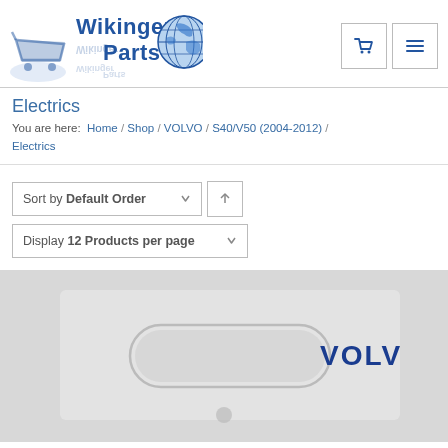[Figure (logo): Wikinger Parts logo with globe icon and shopping cart]
Electrics
You are here: Home / Shop / VOLVO / S40/V50 (2004-2012) / Electrics
Sort by Default Order
Display 12 Products per page
[Figure (photo): Partial photo of a VOLVO branded product in clear plastic packaging on light grey background]